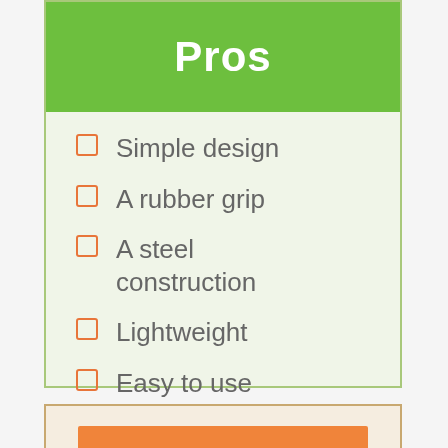Pros
Simple design
A rubber grip
A steel construction
Lightweight
Easy to use
Cons
Occasionally